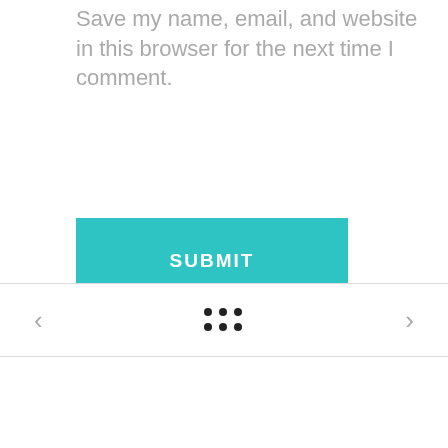Save my name, email, and website in this browser for the next time I comment.
[Figure (screenshot): Teal/turquoise SUBMIT button]
[Figure (infographic): Navigation bar with left arrow, 6-dot grid icon, and right arrow]